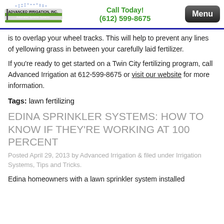Call Today! (612) 599-8675 | Menu
is to overlap your wheel tracks. This will help to prevent any lines of yellowing grass in between your carefully laid fertilizer.
If you're ready to get started on a Twin City fertilizing program, call Advanced Irrigation at 612-599-8675 or visit our website for more information.
Tags: lawn fertilizing
EDINA SPRINKLER SYSTEMS: HOW TO KNOW IF THEY'RE WORKING AT 100 PERCENT
Posted April 29, 2013 by Advanced Irrigation & filed under Irrigation Systems, Tips and Tricks.
Edina homeowners with a lawn sprinkler system installed